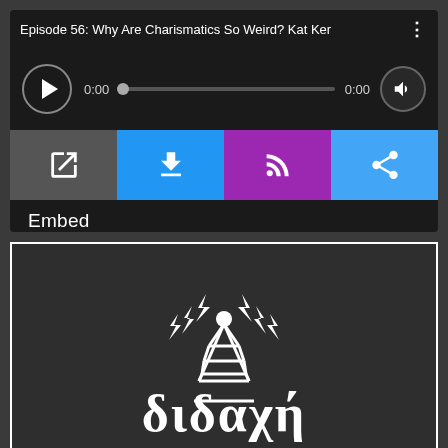[Figure (screenshot): Podcast audio player widget showing episode title 'Episode 56: Why Are Charismatics So Weird? Kat Ker', play button, progress bar with 0:00 timestamps, and four action buttons (open, download, subscribe/RSS, share) below which shows 'Embed' text.]
Embed
[Figure (logo): Didache podcast logo: white radio tower with lightning bolts and Greek text 'διδαχή' on dark background with white border.]